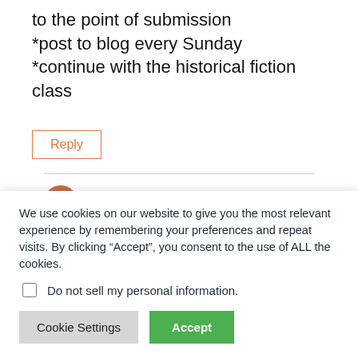to the point of submission
*post to blog every Sunday
*continue with the historical fiction class
Reply
Julie Duffy
We use cookies on our website to give you the most relevant experience by remembering your preferences and repeat visits. By clicking “Accept”, you consent to the use of ALL the cookies.
Do not sell my personal information.
Cookie Settings
Accept